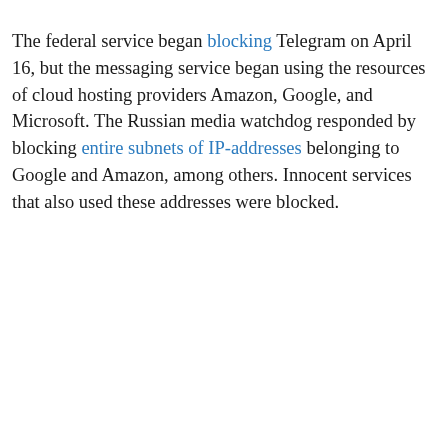The federal service began blocking Telegram on April 16, but the messaging service began using the resources of cloud hosting providers Amazon, Google, and Microsoft. The Russian media watchdog responded by blocking entire subnets of IP-addresses belonging to Google and Amazon, among others. Innocent services that also used these addresses were blocked.